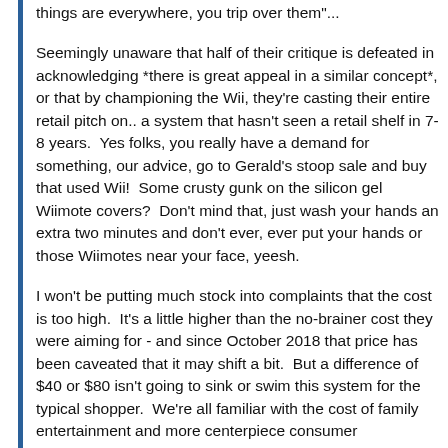things are everywhere, you trip over them"...
Seemingly unaware that half of their critique is defeated in acknowledging *there is great appeal in a similar concept*, or that by championing the Wii, they're casting their entire retail pitch on.. a system that hasn't seen a retail shelf in 7-8 years.  Yes folks, you really have a demand for something, our advice, go to Gerald's stoop sale and buy that used Wii!  Some crusty gunk on the silicon gel Wiimote covers?  Don't mind that, just wash your hands an extra two minutes and don't ever, ever put your hands or those Wiimotes near your face, yeesh.
I won't be putting much stock into complaints that the cost is too high.  It's a little higher than the no-brainer cost they were aiming for - and since October 2018 that price has been caveated that it may shift a bit.  But a difference of $40 or $80 isn't going to sink or swim this system for the typical shopper.  We're all familiar with the cost of family entertainment and more centerpiece consumer...